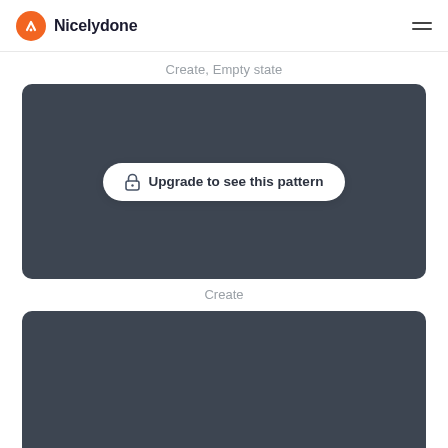Nicelydone
Create, Empty state
[Figure (screenshot): Dark grey card with 'Upgrade to see this pattern' button overlay (lock icon + bold text)]
Create
[Figure (screenshot): Dark grey card, partially visible at bottom of page]